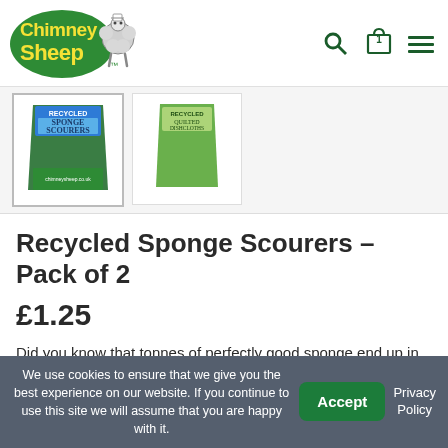[Figure (logo): Chimney Sheep logo with cartoon sheep character and green text]
[Figure (photo): Two product thumbnail images: Recycled Sponge Scourers and Quilted Dishcloths packaging]
Recycled Sponge Scourers – Pack of 2
£1.25
Did you know that tonnes of perfectly good sponge end up in landfill every year? As you know we hate waste at Chimney Sheep, so we were delighted to find these recycled sponge scourers. They are made from the bits that would otherwise go to landfill, and
We use cookies to ensure that we give you the best experience on our website. If you continue to use this site we will assume that you are happy with it.
Accept
Privacy Policy